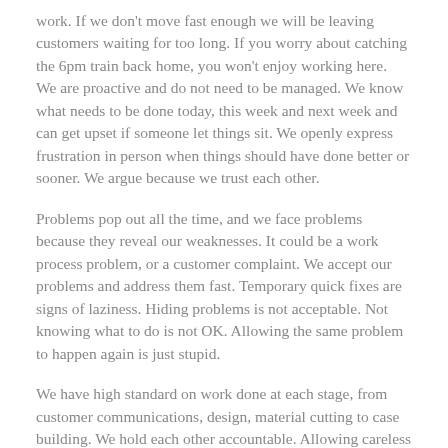work. If we don't move fast enough we will be leaving customers waiting for too long. If you worry about catching the 6pm train back home, you won't enjoy working here.
We are proactive and do not need to be managed. We know what needs to be done today, this week and next week and can get upset if someone let things sit. We openly express frustration in person when things should have done better or sooner. We argue because we trust each other.
Problems pop out all the time, and we face problems because they reveal our weaknesses. It could be a work process problem, or a customer complaint. We accept our problems and address them fast. Temporary quick fixes are signs of laziness. Hiding problems is not acceptable. Not knowing what to do is not OK. Allowing the same problem to happen again is just stupid.
We have high standard on work done at each stage, from customer communications, design, material cutting to case building. We hold each other accountable. Allowing careless mistakes, and imperfections to be passed to the next team member is loudly